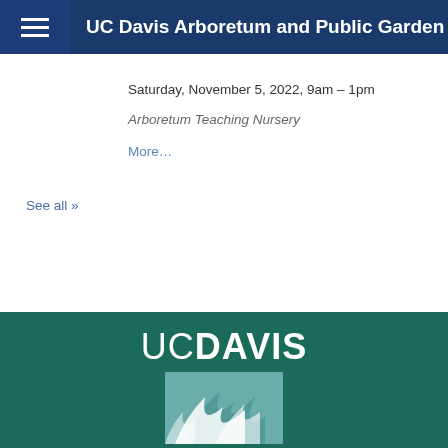UC Davis Arboretum and Public Garden
Saturday, November 5, 2022, 9am – 1pm
Arboretum Teaching Nursery
More...
See all »
[Figure (logo): UC Davis logo with teal background featuring 'UCDAVIS' text and a graphic of plant/garden illustration in teal tones]